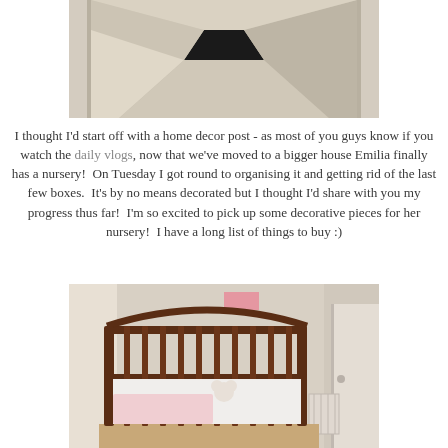[Figure (photo): A hallway with beige carpet and white walls, viewed through an open doorway, with a dark opening at the far end.]
I thought I'd start off with a home decor post - as most of you guys know if you watch the daily vlogs, now that we've moved to a bigger house Emilia finally has a nursery!  On Tuesday I got round to organising it and getting rid of the last few boxes.  It's by no means decorated but I thought I'd share with you my progress thus far!  I'm so excited to pick up some decorative pieces for her nursery!  I have a long list of things to buy :)
[Figure (photo): A dark wood baby crib/cot with white bedding and what appears to be stuffed animals inside, positioned against a beige wall in a nursery room with a white radiator visible to the right.]